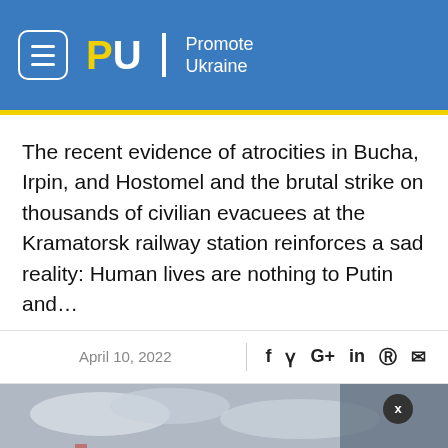Promote Ukraine
The recent evidence of atrocities in Bucha, Irpin, and Hostomel and the brutal strike on thousands of civilian evacuees at the Kramatorsk railway station reinforces a sad reality: Human lives are nothing to Putin and…
April 10, 2022
[Figure (screenshot): Outdoor photo with notification popup showing: Україна отримає понад 600 млн євро допомоги - 2 hours ago, with Ukrainian flag icon. Bell notification button with badge showing 3. X close button.]